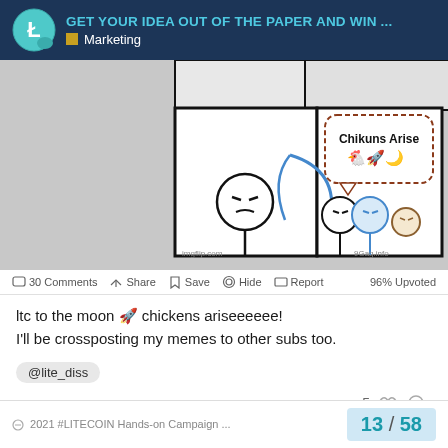GET YOUR IDEA OUT OF THE PAPER AND WIN ... Marketing
[Figure (illustration): A comic meme image with two panels. Left panel shows a stick-figure character looking skeptical. Right panel shows two characters with a speech bubble saying 'Chikuns Arise' with emoji. Watermarks: imgflip.com and 9gag.info.]
30 Comments  Share  Save  Hide  Report  96% Upvoted
ltc to the moon 🚀 chickens ariseeeeee!
I'll be crossposting my memes to other subs too.
@lite_diss
5
2021 #LITECOIN Hands-on Campaign ...  13 / 58